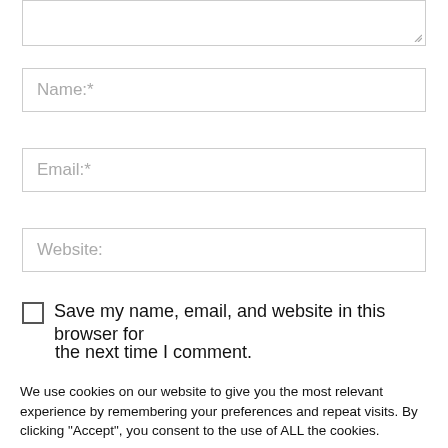[Figure (screenshot): Partially visible textarea input box at the top of the page with a resize handle in the bottom-right corner]
Name:*
Email:*
Website:
Save my name, email, and website in this browser for the next time I comment.
We use cookies on our website to give you the most relevant experience by remembering your preferences and repeat visits. By clicking "Accept", you consent to the use of ALL the cookies.
Do not sell my personal information.
Settings
Accept